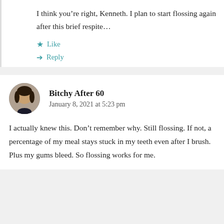I think you’re right, Kenneth. I plan to start flossing again after this brief respite…
★ Like
➤ Reply
Bitchy After 60
January 8, 2021 at 5:23 pm
I actually knew this. Don’t remember why. Still flossing. If not, a percentage of my meal stays stuck in my teeth even after I brush. Plus my gums bleed. So flossing works for me.